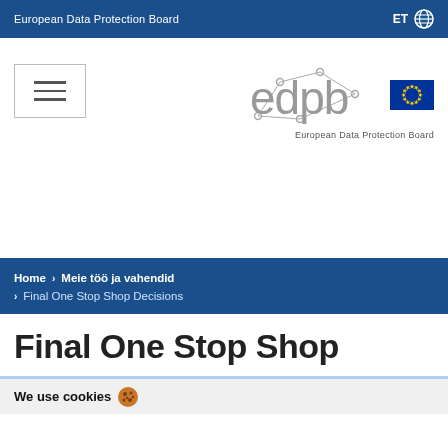European Data Protection Board | ET
[Figure (logo): EDPB logo with network graphic and EU flag, tagline: European Data Protection Board]
[Figure (other): Hamburger menu icon (three horizontal lines in a bordered box)]
Home > Meie töö ja vahendid > Final One Stop Shop Decisions
Final One Stop Shop
We use cookies 🍪